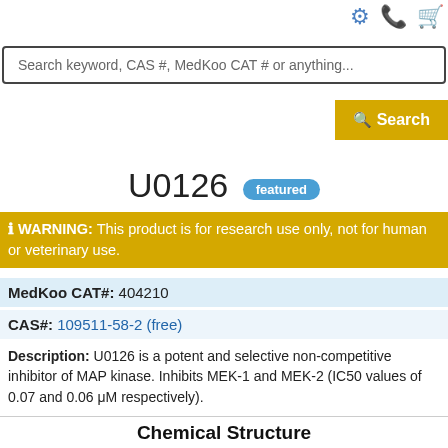Search keyword, CAS #, MedKoo CAT # or anything...
U0126 featured
WARNING: This product is for research use only, not for human or veterinary use.
MedKoo CAT#: 404210
CAS#: 109511-58-2 (free)
Description: U0126 is a potent and selective non-competitive inhibitor of MAP kinase. Inhibits MEK-1 and MEK-2 (IC50 values of 0.07 and 0.06 μM respectively).
Chemical Structure
[Figure (illustration): Chemical structure of U0126 compound showing aromatic rings and nitrogen atoms]